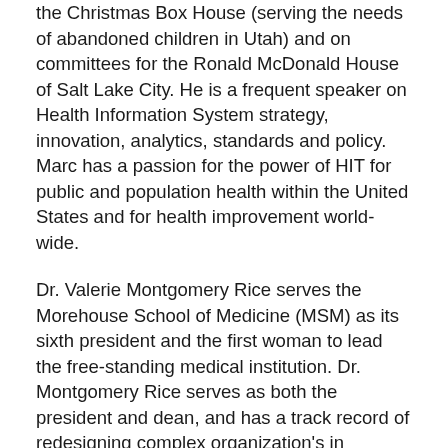the Christmas Box House (serving the needs of abandoned children in Utah) and on committees for the Ronald McDonald House of Salt Lake City. He is a frequent speaker on Health Information System strategy, innovation, analytics, standards and policy. Marc has a passion for the power of HIT for public and population health within the United States and for health improvement world-wide.
Dr. Valerie Montgomery Rice serves the Morehouse School of Medicine (MSM) as its sixth president and the first woman to lead the free-standing medical institution. Dr. Montgomery Rice serves as both the president and dean, and has a track record of redesigning complex organization's in evolving strategic environments and position them for success. She is a renowned infertility specialist and researcher, and prior to MSM served as dean of the School of Medicine and senior vice president of health affairs at Meharry Medical College where she  founded and directed the Center for Women's Health Research, one of the nation's first research centers devoted to studying diseases that disproportionately impact women of color.